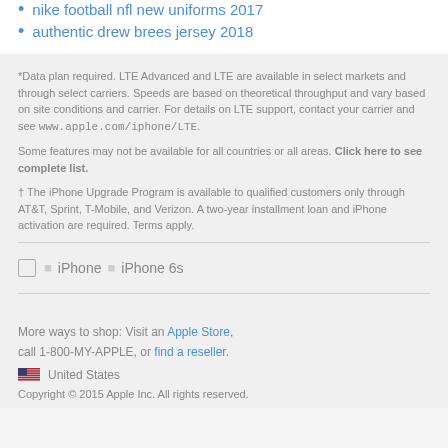nike football nfl new uniforms 2017
authentic drew brees jersey 2018
*Data plan required. LTE Advanced and LTE are available in select markets and through select carriers. Speeds are based on theoretical throughput and vary based on site conditions and carrier. For details on LTE support, contact your carrier and see www.apple.com/iphone/LTE.
Some features may not be available for all countries or all areas. Click here to see complete list.
† The iPhone Upgrade Program is available to qualified customers only through AT&T, Sprint, T-Mobile, and Verizon. A two-year installment loan and iPhone activation are required. Terms apply.
iPhone > iPhone 6s
More ways to shop: Visit an Apple Store, call 1-800-MY-APPLE, or find a reseller.
United States
Copyright © 2015 Apple Inc. All rights reserved.